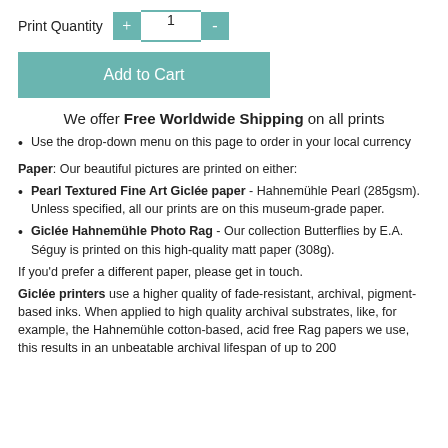Print Quantity  +  1  -
Add to Cart
We offer Free Worldwide Shipping on all prints
Use the drop-down menu on this page to order in your local currency
Paper: Our beautiful pictures are printed on either:
Pearl Textured Fine Art Giclée paper - Hahnemühle Pearl (285gsm). Unless specified, all our prints are on this museum-grade paper.
Giclée Hahnemühle Photo Rag - Our collection Butterflies by E.A. Séguy is printed on this high-quality matt paper (308g).
If you'd prefer a different paper, please get in touch.
Giclée printers use a higher quality of fade-resistant, archival, pigment-based inks. When applied to high quality archival substrates, like, for example, the Hahnemühle cotton-based, acid free Rag papers we use, this results in an unbeatable archival lifespan of up to 200